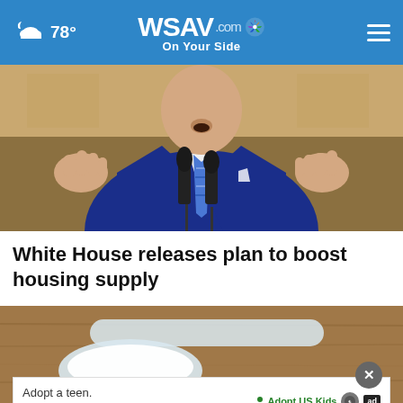WSAV.com On Your Side | 78°
[Figure (photo): Man in blue suit speaking at podium with two microphones, hands raised, blue striped tie]
White House releases plan to boost housing supply
[Figure (photo): White powder in a clear plastic measuring scoop on a wooden surface]
Adopt a teen. You can't imagine the reward. — Adopt US Kids